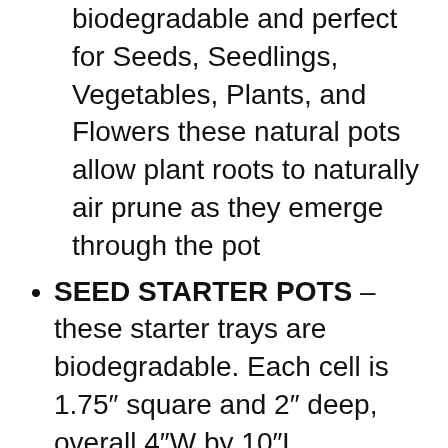biodegradable and perfect for Seeds, Seedlings, Vegetables, Plants, and Flowers these natural pots allow plant roots to naturally air prune as they emerge through the pot
SEED STARTER POTS – these starter trays are biodegradable. Each cell is 1.75″ square and 2″ deep, overall 4″W by 10″L
GUARANTEE – We have a NO hassle 100% guarantee refund policy, If you do not like the item, please do not ...